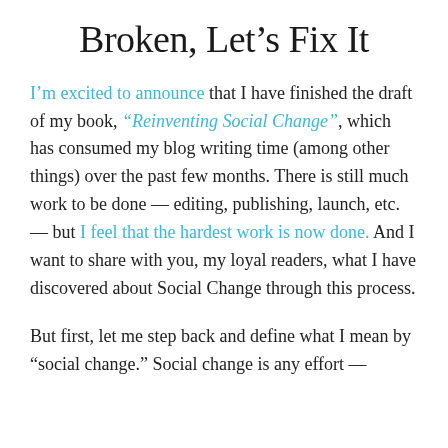Broken, Let’s Fix It
I’m excited to announce that I have finished the draft of my book, “Reinventing Social Change”, which has consumed my blog writing time (among other things) over the past few months. There is still much work to be done — editing, publishing, launch, etc. — but I feel that the hardest work is now done. And I want to share with you, my loyal readers, what I have discovered about Social Change through this process.
But first, let me step back and define what I mean by “social change.” Social change is any effort —